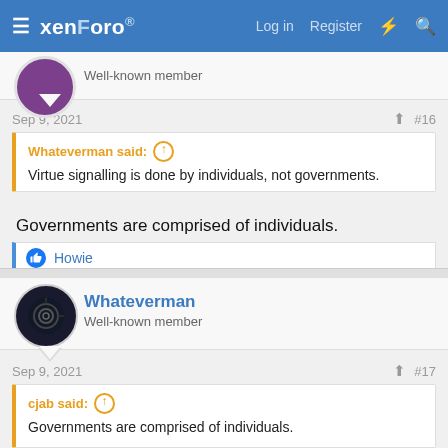xenForo — Log in  Register
Well-known member
Sep 9, 2021  #16
Whateverman said: Virtue signalling is done by individuals, not governments.
Governments are comprised of individuals.
Howie
Whateverman
Well-known member
Sep 9, 2021  #17
cjab said: Governments are comprised of individuals.